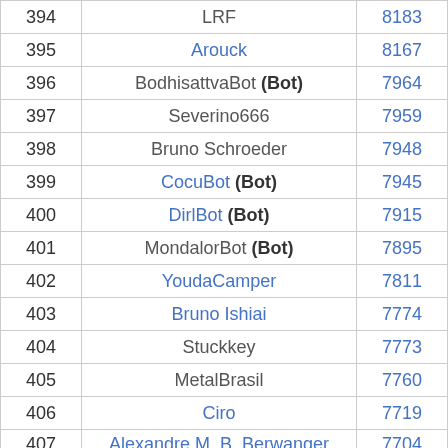| Rank | Name | Score |
| --- | --- | --- |
| 394 | LRF | 8183 |
| 395 | Arouck | 8167 |
| 396 | BodhisattvaBot (Bot) | 7964 |
| 397 | Severino666 | 7959 |
| 398 | Bruno Schroeder | 7948 |
| 399 | CocuBot (Bot) | 7945 |
| 400 | DirlBot (Bot) | 7915 |
| 401 | MondalorBot (Bot) | 7895 |
| 402 | YoudaCamper | 7811 |
| 403 | Bruno Ishiai | 7774 |
| 404 | Stuckkey | 7773 |
| 405 | MetalBrasil | 7760 |
| 406 | Ciro | 7719 |
| 407 | Alexandre M. B. Berwanger | 7704 |